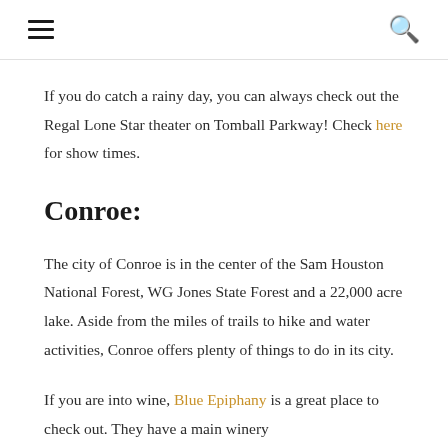[hamburger menu icon] [search icon]
If you do catch a rainy day, you can always check out the Regal Lone Star theater on Tomball Parkway! Check here for show times.
Conroe:
The city of Conroe is in the center of the Sam Houston National Forest, WG Jones State Forest and a 22,000 acre lake. Aside from the miles of trails to hike and water activities, Conroe offers plenty of things to do in its city.
If you are into wine, Blue Epiphany is a great place to check out. They have a main winery